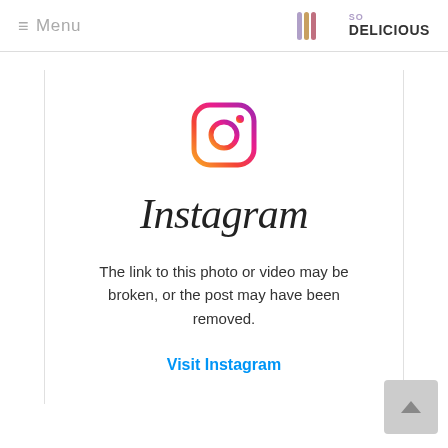≡ Menu | SO DELICIOUS
[Figure (logo): Instagram logo icon — rounded square with gradient (orange to pink to purple) outline and camera/circle design]
Instagram
The link to this photo or video may be broken, or the post may have been removed.
Visit Instagram